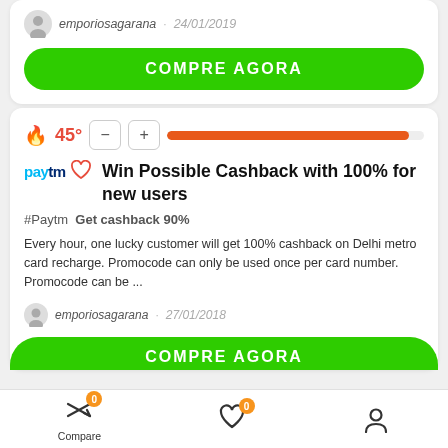emporiosagarana · 24/01/2019
COMPRE AGORA
45°
Win Possible Cashback with 100% for new users
#Paytm  Get cashback 90%
Every hour, one lucky customer will get 100% cashback on Delhi metro card recharge. Promocode can only be used once per card number. Promocode can be ...
emporiosagarana · 27/01/2018
COMPRE AGORA
Compare